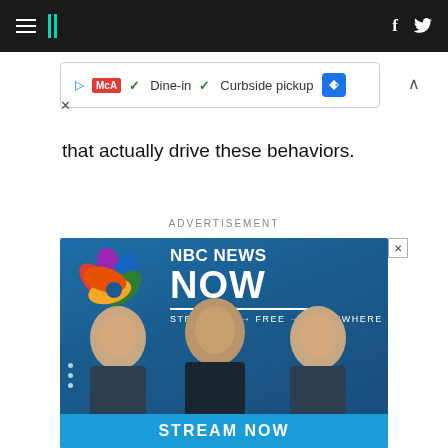HuffPost navigation header with hamburger menu, HuffPost logo, Facebook and Twitter icons
[Figure (screenshot): Small advertisement banner showing McDonald's logo with Dine-in and Curbside pickup checkmarks and a blue diamond navigation icon]
that actually drive these behaviors.
ADVERTISEMENT
[Figure (screenshot): NBC News Now advertisement showing peacock logo, NBC NEWS NOW text, STREAMING → FREE → EVERYWHERE tagline, three news anchors, and STREAM NOW button]